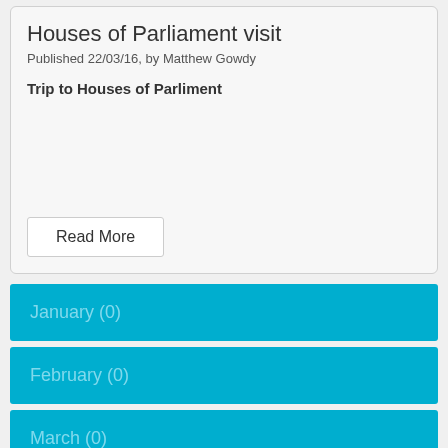Houses of Parliament visit
Published 22/03/16, by Matthew Gowdy
Trip to Houses of Parliment
Read More
January (0)
February (0)
March (0)